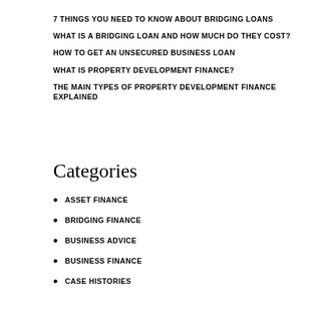7 THINGS YOU NEED TO KNOW ABOUT BRIDGING LOANS
WHAT IS A BRIDGING LOAN AND HOW MUCH DO THEY COST?
HOW TO GET AN UNSECURED BUSINESS LOAN
WHAT IS PROPERTY DEVELOPMENT FINANCE?
THE MAIN TYPES OF PROPERTY DEVELOPMENT FINANCE EXPLAINED
Categories
ASSET FINANCE
BRIDGING FINANCE
BUSINESS ADVICE
BUSINESS FINANCE
CASE HISTORIES